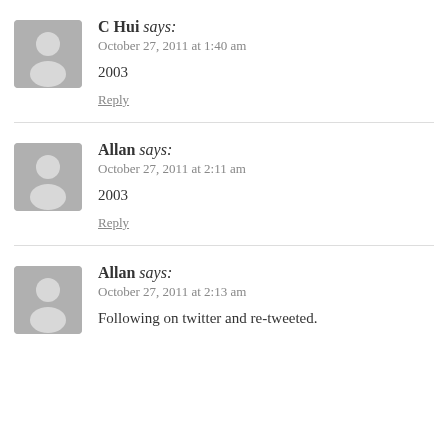C Hui says: October 27, 2011 at 1:40 am
2003
Reply
Allan says: October 27, 2011 at 2:11 am
2003
Reply
Allan says: October 27, 2011 at 2:13 am
Following on twitter and re-tweeted.